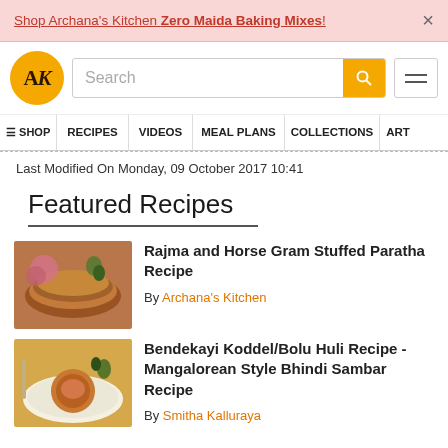Shop Archana's Kitchen Zero Maida Baking Mixes!
[Figure (logo): AK logo - orange circle with AK text]
Last Modified On Monday, 09 October 2017 10:41
Featured Recipes
Rajma and Horse Gram Stuffed Paratha Recipe
By Archana's Kitchen
[Figure (photo): Photo of stacked parathas with onions]
Bendekayi Koddel/Bolu Huli Recipe - Mangalorean Style Bhindi Sambar Recipe
By Smitha Kalluraya
[Figure (photo): Photo of bhindi sambar with rice]